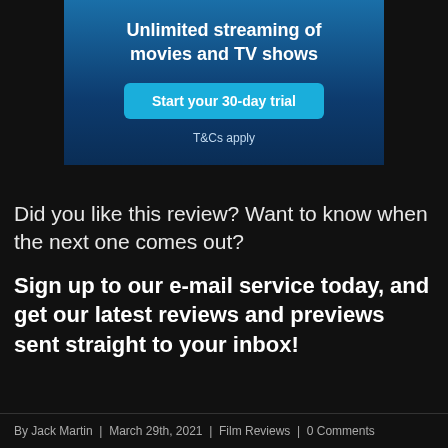[Figure (infographic): Amazon Prime Video advertisement banner with gradient blue background. Shows text 'Unlimited streaming of movies and TV shows', a cyan button 'Start your 30-day trial', and 'T&Cs apply' text below.]
Did you like this review? Want to know when the next one comes out?
Sign up to our e-mail service today, and get our latest reviews and previews sent straight to your inbox!
By Jack Martin | March 29th, 2021 | Film Reviews | 0 Comments